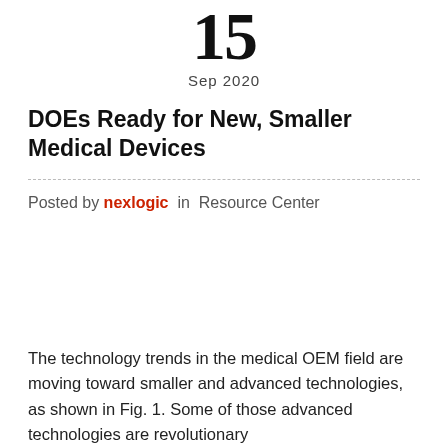15
Sep 2020
DOEs Ready for New, Smaller Medical Devices
Posted by nexlogic in Resource Center
The technology trends in the medical OEM field are moving toward smaller and advanced technologies, as shown in Fig. 1. Some of those advanced technologies are revolutionary